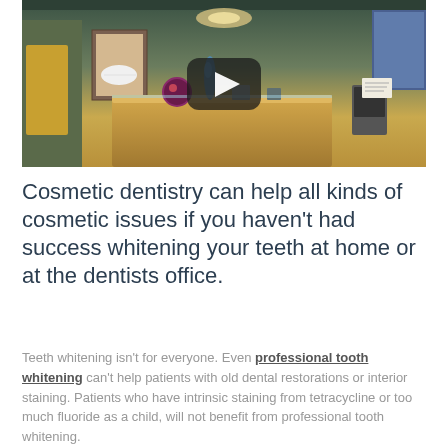[Figure (photo): A dental office reception area with a play button overlay indicating a video thumbnail. The room shows a reception desk, decorative items, ceiling lights, and wall art.]
Cosmetic dentistry can help all kinds of cosmetic issues if you haven't had success whitening your teeth at home or at the dentists office.
Teeth whitening isn't for everyone. Even professional tooth whitening can't help patients with old dental restorations or interior staining. Patients who have intrinsic staining from tetracycline or too much fluoride as a child, will not benefit from professional tooth whitening.